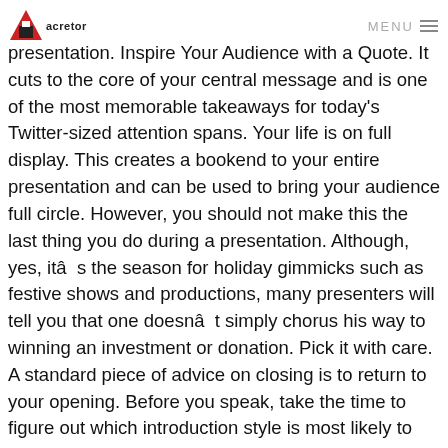MENU
presentation. Inspire Your Audience with a Quote. It cuts to the core of your central message and is one of the most memorable takeaways for today's Twitter-sized attention spans. Your life is on full display. This creates a bookend to your entire presentation and can be used to bring your audience full circle. However, you should not make this the last thing you do during a presentation. Although, yes, itâs the season for holiday gimmicks such as festive shows and productions, many presenters will tell you that one doesnât simply chorus his way to winning an investment or donation. Pick it with care. A standard piece of advice on closing is to return to your opening. Before you speak, take the time to figure out which introduction style is most likely to appeal to your audience. Not all speakers have a personal tagline associated with them. Once you can effectively answer that question, write a brief summary ending that is